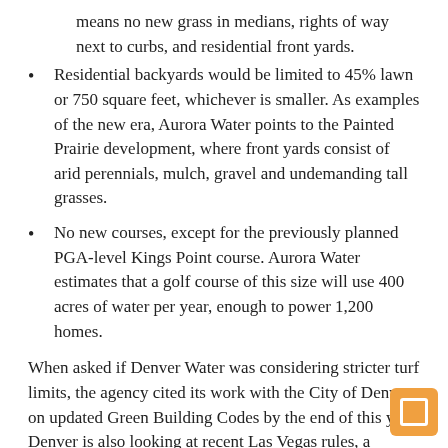means no new grass in medians, rights of way next to curbs, and residential front yards.
Residential backyards would be limited to 45% lawn or 750 square feet, whichever is smaller. As examples of the new era, Aurora Water points to the Painted Prairie development, where front yards consist of arid perennials, mulch, gravel and undemanding tall grasses.
No new courses, except for the previously planned PGA-level Kings Point course. Aurora Water estimates that a golf course of this size will use 400 acres of water per year, enough to power 1,200 homes.
When asked if Denver Water was considering stricter turf limits, the agency cited its work with the City of Denver on updated Green Building Codes by the end of this year. Denver is also looking at recent Las Vegas rules, a spokesman said.
“The Denver version of this proposal would restrict turf to areas serving specific community benefits and limit total irrigation to 7.5 gallons of potable water per square foot [permeable] area per